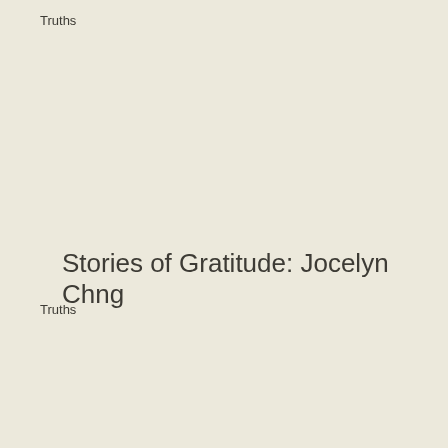Truths
Stories of Gratitude: Jocelyn Chng
Truths